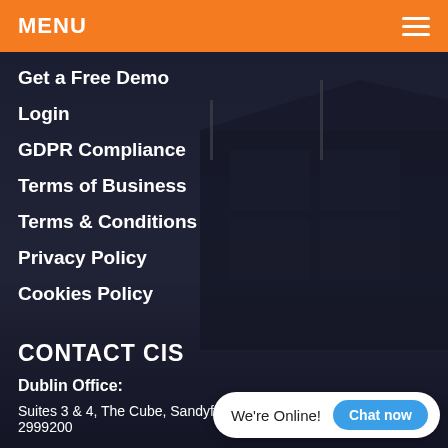MENU
Get a Free Demo
Login
GDPR Compliance
Terms of Business
Terms & Conditions
Privacy Policy
Cookies Policy
CONTACT CIS
Dublin Office:
Suites 3 & 4, The Cube, Sandyford, Dublin 18, D18 R7N8+353 (0)1 2999200